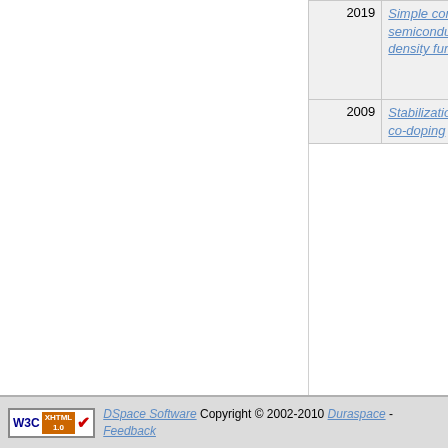| Year | Title | Authors |
| --- | --- | --- |
| 2019 | Simple correction to bandgap problems in IV and III–V semiconductors: an improved, local first-principles density functional theory | Datta, Sujoy; Singh, Prashant; Chaudhuri, Chhanda B; Jana, Debnarayan; Harbola, Manoj K; Johnson, Duane D; Mookerjee, Abhijit |
| 2009 | Stabilization of ferromagnetism in Mn doped ZnO with C co-doping | Yadav, Manoj K; Sanyal, Biplab; Mookerjee, Abhijit |
Showing results 37 to 56 of 74
< previous   next >
DSpace Software Copyright © 2002-2010 Duraspace - Feedback